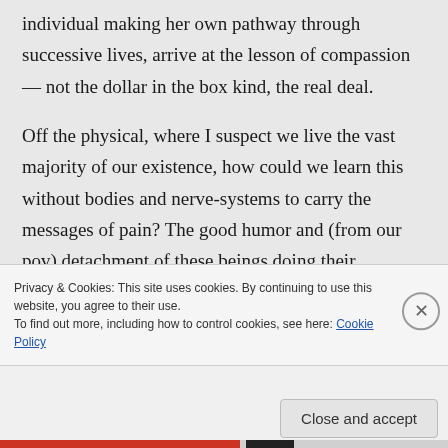individual making her own pathway through successive lives, arrive at the lesson of compassion — not the dollar in the box kind, the real deal.

Off the physical, where I suspect we live the vast majority of our existence, how could we learn this without bodies and nerve-systems to carry the messages of pain? The good humor and (from our pov) detachment of these beings doing their
Privacy & Cookies: This site uses cookies. By continuing to use this website, you agree to their use.
To find out more, including how to control cookies, see here: Cookie Policy
Close and accept